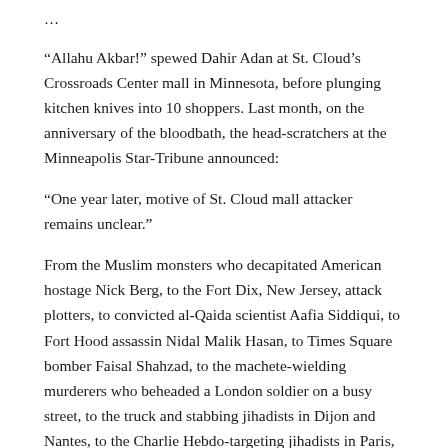…
“Allahu Akbar!” spewed Dahir Adan at St. Cloud’s Crossroads Center mall in Minnesota, before plunging kitchen knives into 10 shoppers. Last month, on the anniversary of the bloodbath, the head-scratchers at the Minneapolis Star-Tribune announced:
“One year later, motive of St. Cloud mall attacker remains unclear.”
From the Muslim monsters who decapitated American hostage Nick Berg, to the Fort Dix, New Jersey, attack plotters, to convicted al-Qaida scientist Aafia Siddiqui, to Fort Hood assassin Nidal Malik Hasan, to Times Square bomber Faisal Shahzad, to the machete-wielding murderers who beheaded a London soldier on a busy street, to the truck and stabbing jihadists in Dijon and Nantes, to the Charlie Hebdo-targeting jihadists in Paris, to the ISIS gunmen at Bataclan, to double-stabber Wasil Rafat